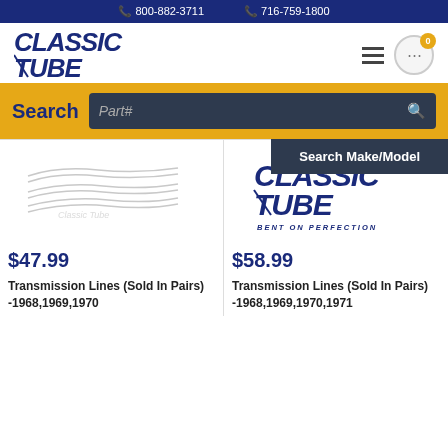800-882-3711  716-759-1800
[Figure (logo): Classic Tube logo - bold italic blue text]
Search  Part#  Search Make/Model
[Figure (illustration): Transmission line tube illustration with Classic Tube watermark]
$47.99
Transmission Lines (Sold In Pairs) -1968,1969,1970
[Figure (logo): Classic Tube logo - BENT ON PERFECTION]
$58.99
Transmission Lines (Sold In Pairs) -1968,1969,1970,1971